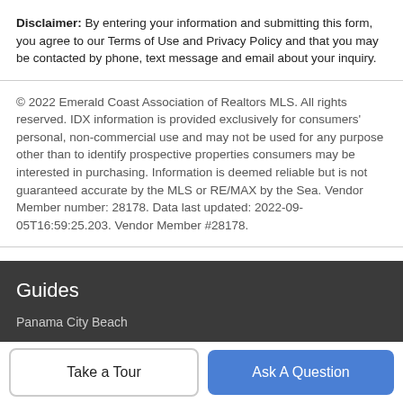Disclaimer: By entering your information and submitting this form, you agree to our Terms of Use and Privacy Policy and that you may be contacted by phone, text message and email about your inquiry.
© 2022 Emerald Coast Association of Realtors MLS. All rights reserved. IDX information is provided exclusively for consumers' personal, non-commercial use and may not be used for any purpose other than to identify prospective properties consumers may be interested in purchasing. Information is deemed reliable but is not guaranteed accurate by the MLS or RE/MAX by the Sea. Vendor Member number: 28178. Data last updated: 2022-09-05T16:59:25.203. Vendor Member #28178.
Guides
Panama City Beach